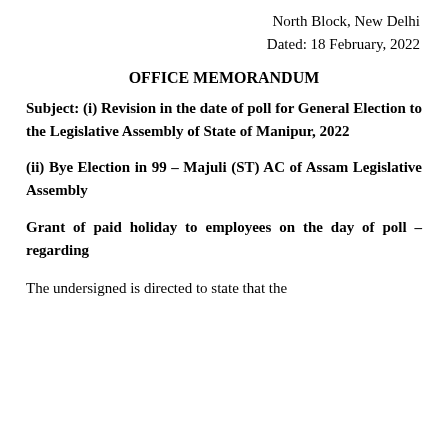North Block, New Delhi
Dated: 18 February, 2022
OFFICE MEMORANDUM
Subject: (i) Revision in the date of poll for General Election to the Legislative Assembly of State of Manipur, 2022
(ii) Bye Election in 99 – Majuli (ST) AC of Assam Legislative Assembly
Grant of paid holiday to employees on the day of poll – regarding
The undersigned is directed to state that the